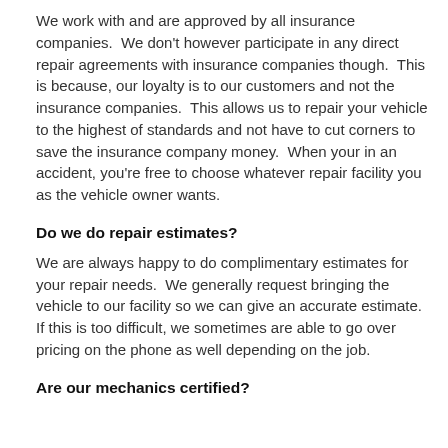We work with and are approved by all insurance companies.  We don't however participate in any direct repair agreements with insurance companies though.  This is because, our loyalty is to our customers and not the insurance companies.  This allows us to repair your vehicle to the highest of standards and not have to cut corners to save the insurance company money.  When your in an accident, you're free to choose whatever repair facility you as the vehicle owner wants.
Do we do repair estimates?
We are always happy to do complimentary estimates for your repair needs.  We generally request bringing the vehicle to our facility so we can give an accurate estimate.  If this is too difficult, we sometimes are able to go over pricing on the phone as well depending on the job.
Are our mechanics certified?